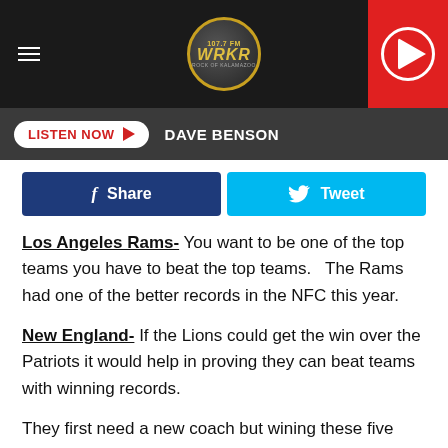[Figure (screenshot): WRKR radio station header with logo, hamburger menu, and red play button]
LISTEN NOW  DAVE BENSON
[Figure (infographic): Facebook Share and Twitter Tweet social sharing buttons]
Los Angeles Rams- You want to be one of the top teams you have to beat the top teams.   The Rams had one of the better records in the NFC this year.
New England- If the Lions could get the win over the Patriots it would help in proving they can beat teams with winning records.
They first need a new coach but wining these five games next season would go along way into helping the Lions get past the under achieving team from this season.